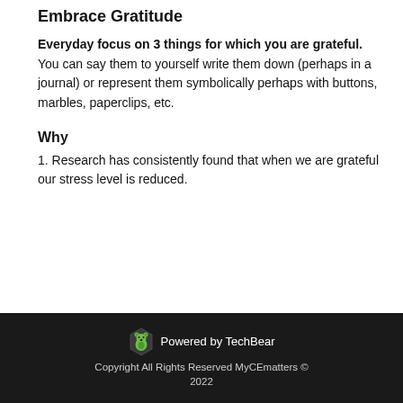Embrace Gratitude
Everyday focus on 3 things for which you are grateful. You can say them to yourself write them down (perhaps in a journal) or represent them symbolically perhaps with buttons, marbles, paperclips, etc.
Why
1. Research has consistently found that when we are grateful our stress level is reduced.
Powered by TechBear
Copyright All Rights Reserved MyCEmatters © 2022